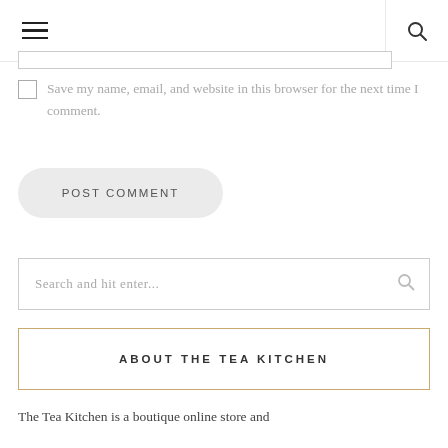Save my name, email, and website in this browser for the next time I comment.
POST COMMENT
Search and hit enter...
ABOUT THE TEA KITCHEN
The Tea Kitchen is a boutique online store and